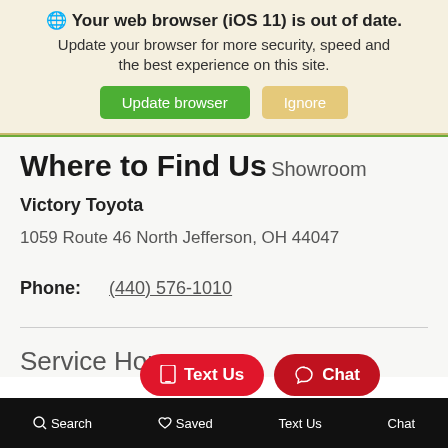🌐 Your web browser (iOS 11) is out of date. Update your browser for more security, speed and the best experience on this site.
Where to Find Us
Showroom
Victory Toyota
1059 Route 46 North Jefferson, OH 44047
Phone: (440) 576-1010
Service Hours
Search  Saved  Text Us  Chat